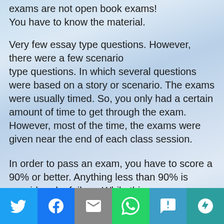exams are not open book exams! You have to know the material.
Very few essay type questions. However, there were a few scenario type questions. In which several questions were based on a story or scenario. The exams were usually timed. So, you only had a certain amount of time to get through the exam. However, most of the time, the exams were given near the end of each class session.
In order to pass an exam, you have to score a 90% or better. Anything less than 90% is considered a failure. While this may seem harsh, Comair and Chautauqua Airlines, both allowed 1 or 2 exam retakes. So, if you failed one exam, you could take
[Figure (screenshot): Social sharing toolbar with Twitter, Facebook, Email, WhatsApp, SMS, and More buttons]